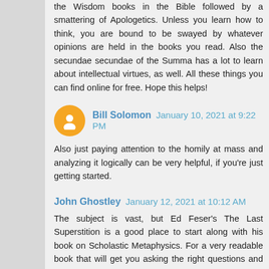the Wisdom books in the Bible followed by a smattering of Apologetics. Unless you learn how to think, you are bound to be swayed by whatever opinions are held in the books you read. Also the secundae secundae of the Summa has a lot to learn about intellectual virtues, as well. All these things you can find online for free. Hope this helps!
Bill Solomon January 10, 2021 at 9:22 PM
Also just paying attention to the homily at mass and analyzing it logically can be very helpful, if you're just getting started.
John Ghostley January 12, 2021 at 10:12 AM
The subject is vast, but Ed Feser's The Last Superstition is a good place to start along with his book on Scholastic Metaphysics. For a very readable book that will get you asking the right questions and getting many of the right answers